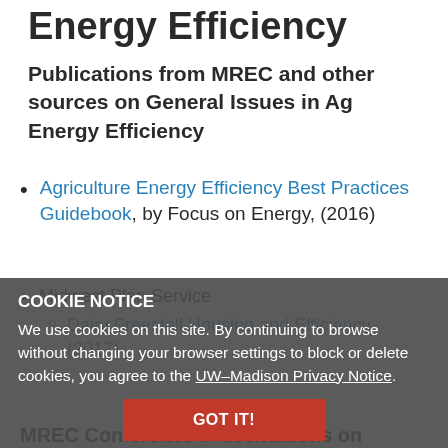Energy Efficiency
Publications from MREC and other sources on General Issues in Ag Energy Efficiency
Agriculture Energy Efficiency Best Practices Guidebook, by Focus on Energy, (2016)
Midwest Plan Service
Dairy Freestall Housing and Efficiency (2017)
COOKIE NOTICE
We use cookies on this site. By continuing to browse without changing your browser settings to block or delete cookies, you agree to the UW–Madison Privacy Notice.
MREC Conference Presentations on General Issues in Agricultural Energy Efficiency
Are you Milking Your Farm's Efficiency?